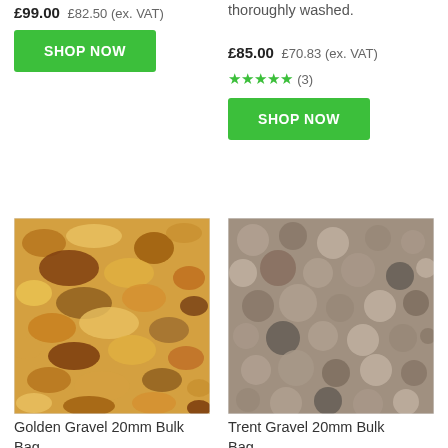£99.00 £82.50 (ex. VAT)
SHOP NOW
thoroughly washed.
£85.00 £70.83 (ex. VAT)
★★★★★ (3)
SHOP NOW
[Figure (photo): Close-up photo of golden/brown angular gravel stones - Golden Gravel 20mm]
Golden Gravel 20mm Bulk Bag
[Figure (photo): Close-up photo of rounded mixed-tone pebbles/gravel - Trent Gravel 20mm]
Trent Gravel 20mm Bulk Bag